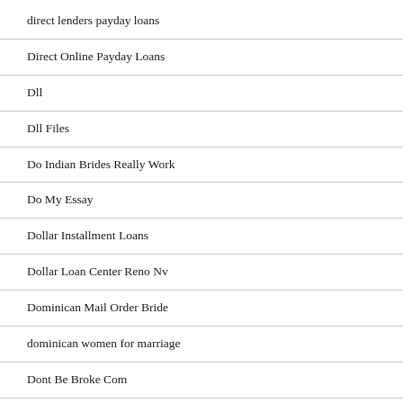direct lenders payday loans
Direct Online Payday Loans
Dll
Dll Files
Do Indian Brides Really Work
Do My Essay
Dollar Installment Loans
Dollar Loan Center Reno Nv
Dominican Mail Order Bride
dominican women for marriage
Dont Be Broke Com